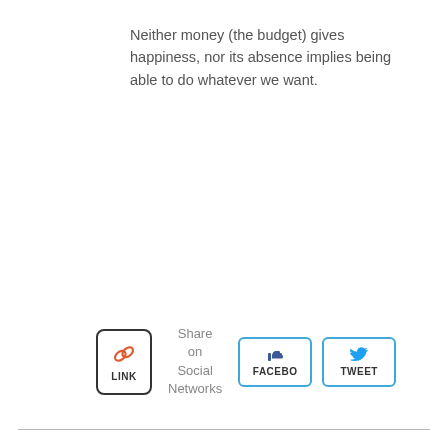Neither money (the budget) gives happiness, nor its absence implies being able to do whatever we want.
[Figure (infographic): Social sharing buttons area with a link icon box labeled LINK, Share on Social Networks text, and Facebook and Tweet buttons with icons.]